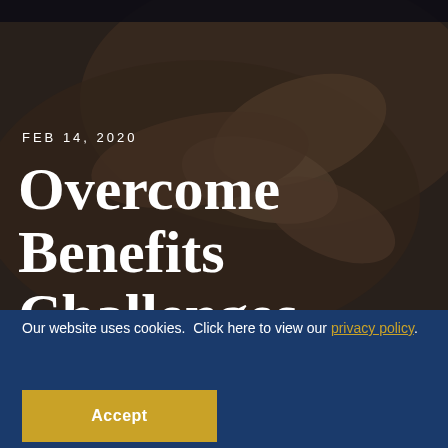[Figure (photo): Dark background photo of hands, suggesting a healthcare or benefits context, with a blurred warm-toned image of hands reaching or holding]
FEB 14, 2020
Overcome Benefits Challenges Through
Our website uses cookies.  Click here to view our privacy policy.
Accept